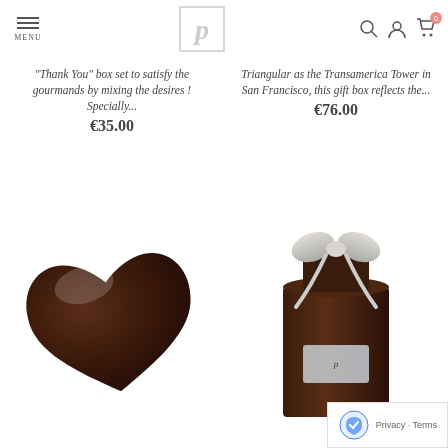MENU | [Logo P] | Search | Account | Cart (0)
"Thank You" box set to satisfy the gourmands by mixing the desires ! Specially...
€35.00
Triangular as the Transamerica Tower in San Francisco, this gift box reflects the...
€76.00
[Figure (photo): Dark chocolate heart-shaped candy on white background]
[Figure (photo): Dark chocolate gift bag tied with white ribbon bow and label on white background]